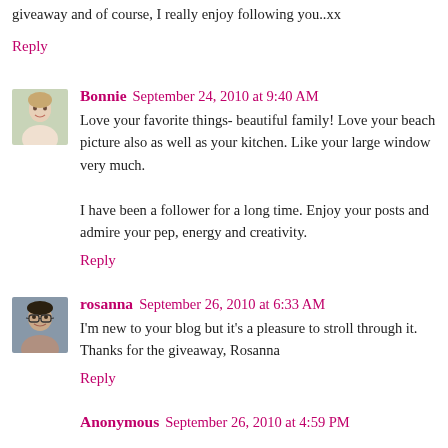giveaway and of course, I really enjoy following you..xx
Reply
Bonnie  September 24, 2010 at 9:40 AM
Love your favorite things- beautiful family! Love your beach picture also as well as your kitchen. Like your large window very much.

I have been a follower for a long time. Enjoy your posts and admire your pep, energy and creativity.
Reply
rosanna  September 26, 2010 at 6:33 AM
I'm new to your blog but it's a pleasure to stroll through it. Thanks for the giveaway, Rosanna
Reply
Anonymous  September 26, 2010 at 4:59 PM